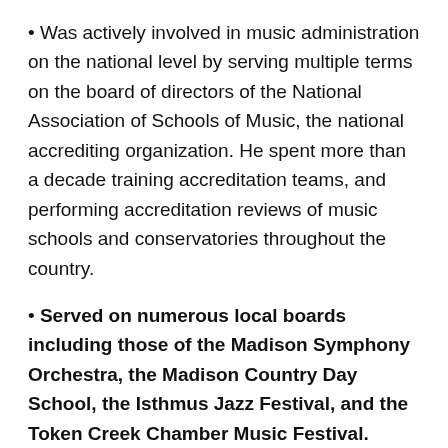Was actively involved in music administration on the national level by serving multiple terms on the board of directors of the National Association of Schools of Music, the national accrediting organization. He spent more than a decade training accreditation teams, and performing accreditation reviews of music schools and conservatories throughout the country.
Served on numerous local boards including those of the Madison Symphony Orchestra, the Madison Country Day School, the Isthmus Jazz Festival, and the Token Creek Chamber Music Festival.
Schaffer's own academic work in music theory focused initially on analysis of contemporary and non-tonal music, and in artificial intelligence applications in music theory. When he returned to the faculty from